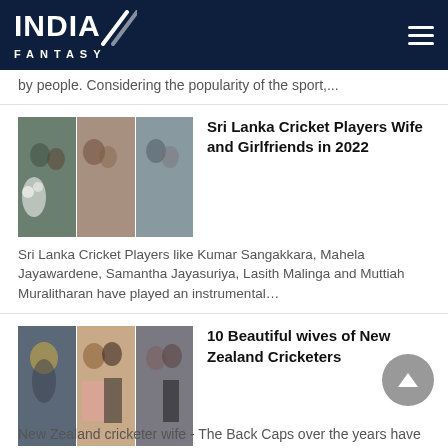INDIA FANTASY
by people. Considering the popularity of the sport,...
[Figure (photo): Composite photo of Sri Lanka cricket players with their wives/girlfriends]
Sri Lanka Cricket Players Wife and Girlfriends in 2022
Sri Lanka Cricket Players like Kumar Sangakkara, Mahela Jayawardene, Samantha Jayasuriya, Lasith Malinga and Muttiah Muralitharan have played an instrumental…
[Figure (photo): Composite photo of New Zealand cricketers with their wives]
10 Beautiful wives of New Zealand Cricketers
New Zealand cricketer wife - The Back Caps over the years have